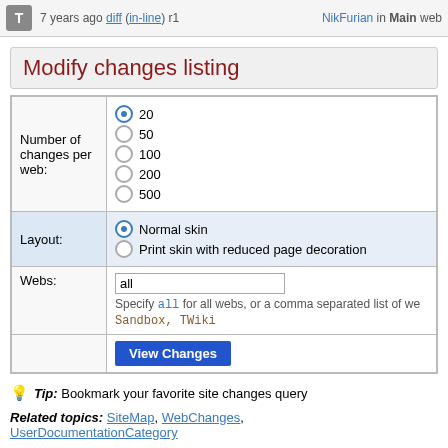T  7 years ago diff (in-line) r1  NikFurian in Main web
Modify changes listing
|  |  |
| --- | --- |
| Number of changes per web: | ● 20
○ 50
○ 100
○ 200
○ 500 |
| Layout: | ● Normal skin
○ Print skin with reduced page decoration |
| Webs: | all
Specify all for all webs, or a comma separated list of we
Sandbox, TWiki |
|  | View Changes |
💡 Tip: Bookmark your favorite site changes query
Related topics: SiteMap, WebChanges, UserDocumentationCategory